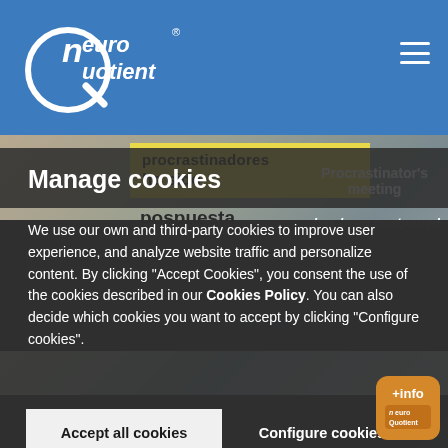NeuroQuotient logo and navigation header
[Figure (screenshot): Background content showing Spanish text about procrastination meeting being postponed, partially visible behind cookie consent overlay]
Manage cookies
We use our own and third-party cookies to improve user experience, and analyze website traffic and personalize content. By clicking "Accept Cookies", you consent the use of the cookies described in our Cookies Policy. You can also decide which cookies you want to accept by clicking "Configure cookies".
Accept all cookies
Configure cookies
[Figure (logo): +info NeuroQuotient badge in bottom right corner]